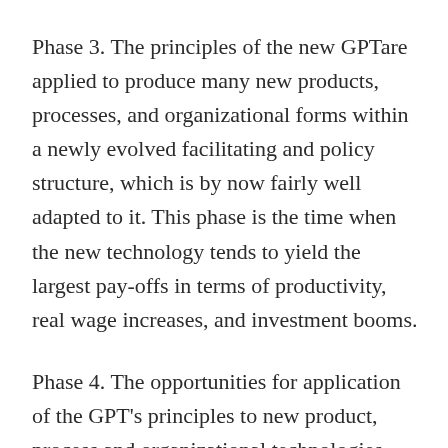Phase 3. The principles of the new GPTare applied to produce many new products, processes, and organizational forms within a newly evolved facilitating and policy structure, which is by now fairly well adapted to it. This phase is the time when the new technology tends to yield the largest pay-offs in terms of productivity, real wage increases, and investment booms.
Phase 4. The opportunities for application of the GPT's principles to new product, process and organizational technologies diminish and, if new